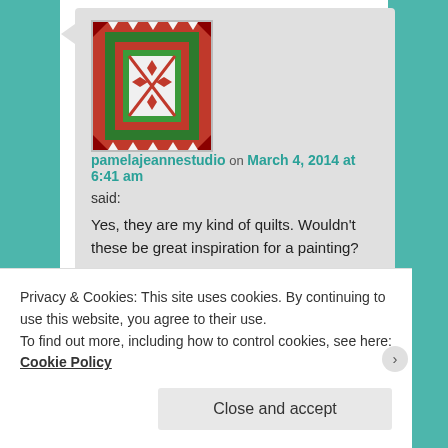[Figure (illustration): Square quilt avatar image with red and green geometric quilt pattern]
pamelajeannestudio on March 4, 2014 at 6:41 am
said:
Yes, they are my kind of quilts. Wouldn't these be great inspiration for a painting?
Like
Reply ↓
Privacy & Cookies: This site uses cookies. By continuing to use this website, you agree to their use.
To find out more, including how to control cookies, see here: Cookie Policy
Close and accept